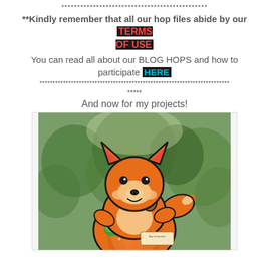**********************************************
**Kindly remember that all our hop files abide by our TERMS OF USE
You can read all about our BLOG HOPS and how to participate HERE
************************************************************************
*****
And now for my projects!
[Figure (photo): A cute orange fox paper craft figure sitting on top of a pumpkin, holding an acorn, with a 'You're Invited' tag, photographed against a blurred green tree background.]